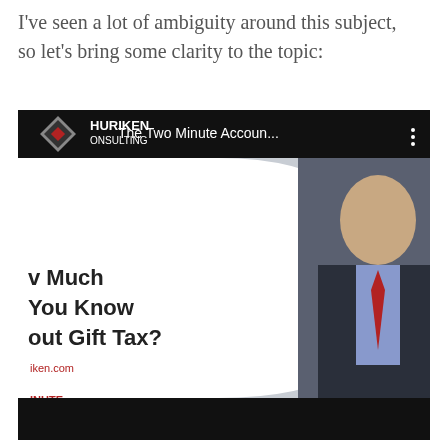I've seen a lot of ambiguity around this subject, so let's bring some clarity to the topic:
[Figure (screenshot): YouTube video thumbnail showing a man in a suit with a red tie, with Shuriken Consulting logo and text 'How Much Do You Know About Gift Tax?' and a YouTube play button overlay. Title bar reads 'The Two Minute Accoun...']